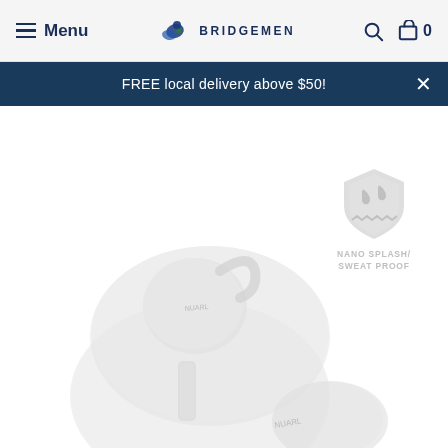Menu | BRIDGEMEN | Search | Cart 0
FREE local delivery above $50!
[Figure (photo): White true wireless earbuds with ear hooks shown outside of an open white circular charging case, product by NUARL, displayed on white background]
[Figure (illustration): Shield badge icon with water drop symbols indicating Nano Splash/Sweat Proof rating, gray colored badge]